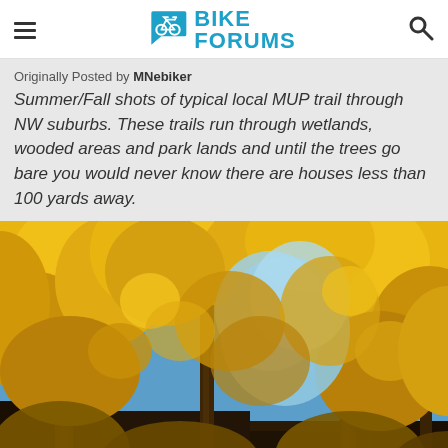BIKE FORUMS
Originally Posted by MNebiker
Summer/Fall shots of typical local MUP trail through NW suburbs. These trails run through wetlands, wooded areas and park lands and until the trees go bare you would never know there are houses less than 100 yards away.
[Figure (photo): Autumn forest scene looking upward through golden-yellow foliage of tall trees against a blue sky, photographed from a trail in NW suburbs.]